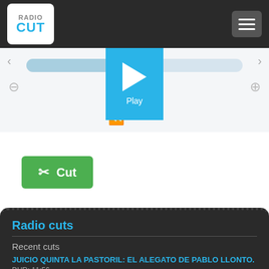RadioCut
[Figure (screenshot): Audio player interface with progress bar, play button, rewind, zoom controls]
[Figure (screenshot): Green Cut button with scissors icon]
Radio cuts
Recent cuts
JUICIO QUINTA LA PASTORIL: EL ALEGATO DE PABLO LLONTO. Dur: 11:56
Comenzó el alegato de querella en la voz de Pablo Llonto. Las